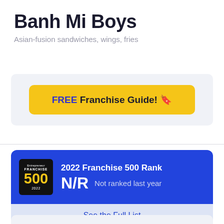Banh Mi Boys
Asian-fusion sandwiches, wings, fries
[Figure (other): Yellow CTA button reading FREE Franchise Guide! with a bookmark/tag emoji, set inside a light gray rounded box]
[Figure (infographic): Blue card showing Entrepreneur Franchise 500 2022 badge on black background, with text '2022 Franchise 500 Rank', 'N/R', 'Not ranked last year', and a light blue footer 'See the Full List']